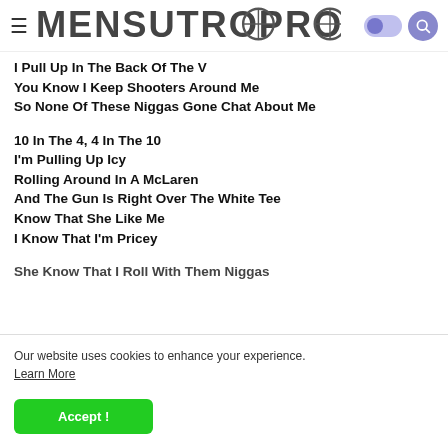MensuTropro — site header with logo, toggle, and search
I Pull Up In The Back Of The V
You Know I Keep Shooters Around Me
So None Of These Niggas Gone Chat About Me
10 In The 4, 4 In The 10
I'm Pulling Up Icy
Rolling Around In A McLaren
And The Gun Is Right Over The White Tee
Know That She Like Me
I Know That I'm Pricey
She Know That I Roll With Them Niggas
Our website uses cookies to enhance your experience. Learn More
Accept !